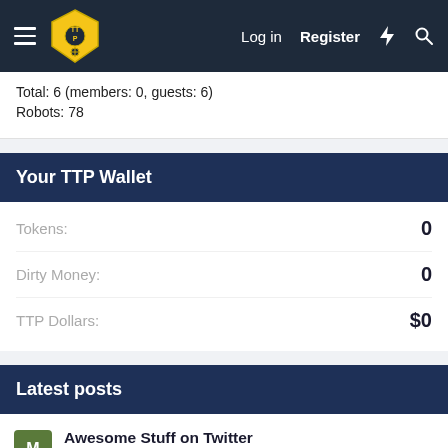TTP forum navigation bar with logo, Log in, Register
Total: 6 (members: 0, guests: 6)
Robots: 78
Your TTP Wallet
Tokens: 0
Dirty Money: 0
TTP Dollars: $0
Latest posts
Awesome Stuff on Twitter
Latest: mtkb · Today at 1:28 PM
Community & General Offtopic Banter